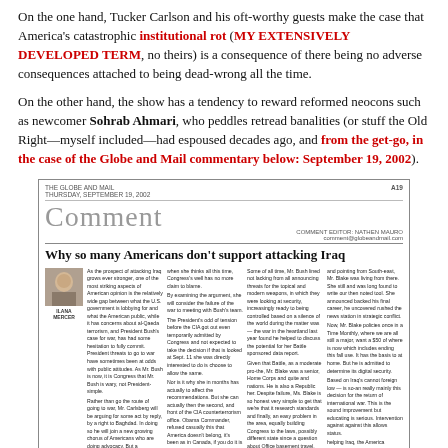On the one hand, Tucker Carlson and his oft-worthy guests make the case that America's catastrophic institutional rot (MY EXTENSIVELY DEVELOPED TERM, no theirs) is a consequence of there being no adverse consequences attached to being dead-wrong all the time.
On the other hand, the show has a tendency to reward reformed neocons such as newcomer Sohrab Ahmari, who peddles retread banalities (or stuff the Old Right—myself included—had espoused decades ago, and from the get-go, in the case of the Globe and Mail commentary below: September 19, 2002).
[Figure (screenshot): Newspaper clipping from The Globe and Mail showing a 'Comment' section article titled 'Why so many Americans don't support attacking Iraq' with a photo of Ilana Mercer and columns of text.]
Rewarding conveniently reformed, politically pleasing mediocrities makes the practitioner part of the institutional rot.
"PUNDITS, HEAL THYSELVES!" (Ilana Mercer, May 29, 2004) spoke to this repulsive specter: